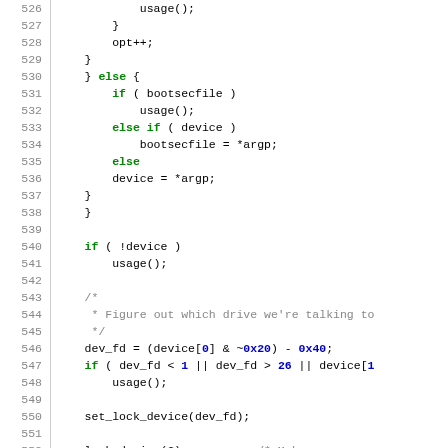Source code listing lines 526-553, C programming language with syntax highlighting